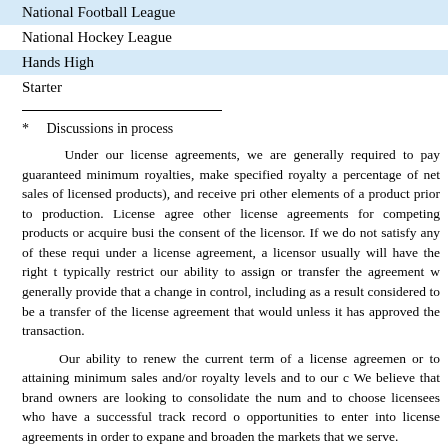| National Football League |
| National Hockey League |
| Hands High |
| Starter |
* Discussions in process
Under our license agreements, we are generally required to pay guaranteed minimum royalties, make specified royalty a percentage of net sales of licensed products), and receive pri other elements of a product prior to production. License agree other license agreements for competing products or acquire busi the consent of the licensor. If we do not satisfy any of these requi under a license agreement, a licensor usually will have the right t typically restrict our ability to assign or transfer the agreement w generally provide that a change in control, including as a result considered to be a transfer of the license agreement that would unless it has approved the transaction.
Our ability to renew the current term of a license agreemen or to attaining minimum sales and/or royalty levels and to our c We believe that brand owners are looking to consolidate the num and to choose licensees who have a successful track record o opportunities to enter into license agreements in order to expane and broaden the markets that we serve.
Proprietary Brands